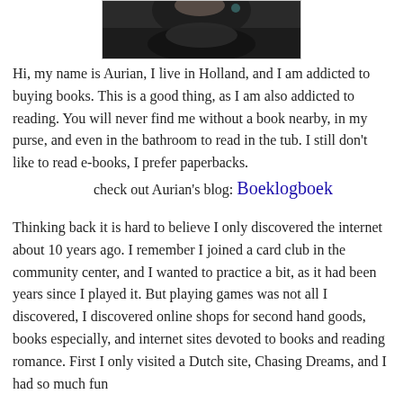[Figure (photo): Bottom portion of a portrait photo of a person wearing black clothing, partially visible from shoulders up]
Hi, my name is Aurian, I live in Holland, and I am addicted to buying books. This is a good thing, as I am also addicted to reading. You will never find me without a book nearby, in my purse, and even in the bathroom to read in the tub. I still don’t like to read e-books, I prefer paperbacks.
check out Aurian's blog: Boeklogboek
Thinking back it is hard to believe I only discovered the internet about 10 years ago. I remember I joined a card club in the community center, and I wanted to practice a bit, as it had been years since I played it. But playing games was not all I discovered, I discovered online shops for second hand goods, books especially, and internet sites devoted to books and reading romance. First I only visited a Dutch site, Chasing Dreams, and I had so much fun